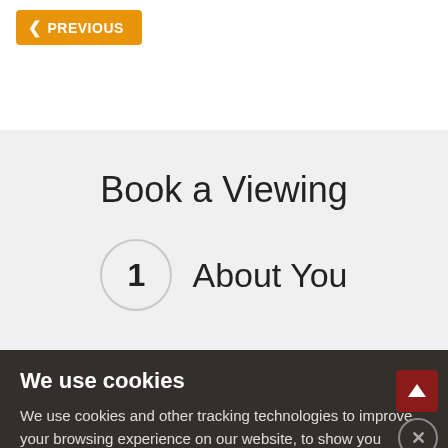PREVIOUS
Book a Viewing
1  About You
We use cookies
We use cookies and other tracking technologies to improve your browsing experience on our website, to show you personalized content and targeted ads, to analyze our website traffic, and to understand where our visitors are coming from.